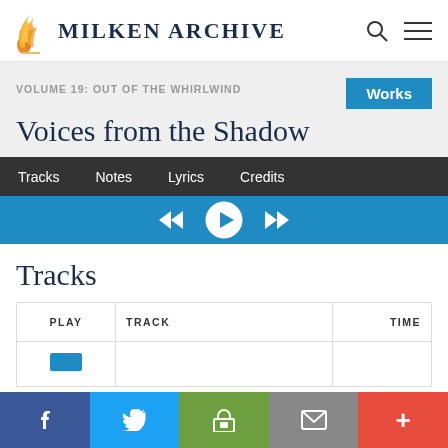Milken Archive
VOLUME 19: OUT OF THE WHIRLWIND
Works
Voices from the Shadow
Tracks	Notes	Lyrics	Credits
Tracks
| PLAY | TRACK | TIME |
| --- | --- | --- |
|  |  |  |
Facebook Twitter Print Mail More